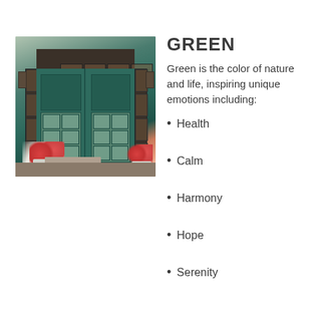[Figure (photo): A house entrance with a dark teal/green front door flanked by sidelites and a transom window. Red flowers in white pots flank the door. Wall-mounted lanterns on either side. Wooden porch deck with a mat.]
GREEN
Green is the color of nature and life, inspiring unique emotions including:
Health
Calm
Harmony
Hope
Serenity